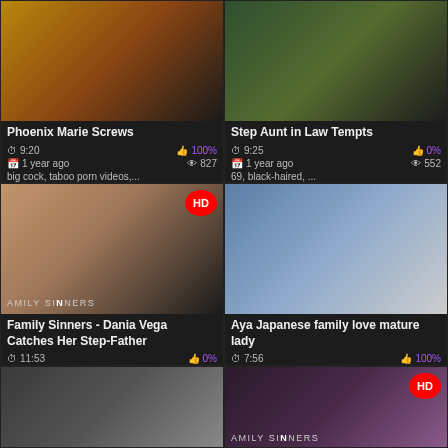Phoenix Marie Screws
9:20 | 100% | 1 year ago | 827
big cock, taboo porn videos,...
Step Aunt in Law Tempts
9:25 | 0% | 1 year ago | 552
69, black-haired, ...
Family Sinners - Dania Vega Catches Her Step-Father
11:53 | 0% | 1 year ago | 310
blowjob, couple, naturalt its,...
Aya Japanese family love mature lady
7:56 | 100% | 1 year ago | 1 199
couple, chinese, family, ...